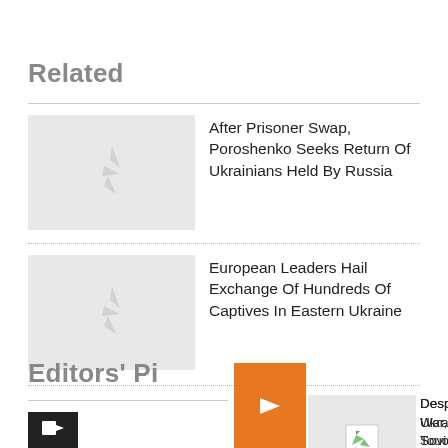Related
After Prisoner Swap, Poroshenko Seeks Return Of Ukrainians Held By Russia
European Leaders Hail Exchange Of Hundreds Of Captives In Eastern Ukraine
Despite Sweeping Sanctions Over The Ukraine War, Russian Unemployment Touches Post-Soviet Low. Here's Why.
Editors' Pick